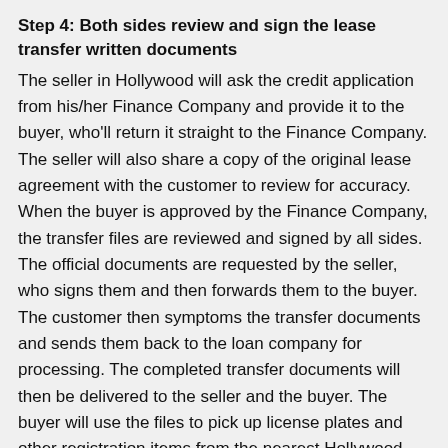Step 4: Both sides review and sign the lease transfer written documents
The seller in Hollywood will ask the credit application from his/her Finance Company and provide it to the buyer, who'll return it straight to the Finance Company. The seller will also share a copy of the original lease agreement with the customer to review for accuracy. When the buyer is approved by the Finance Company, the transfer files are reviewed and signed by all sides. The official documents are requested by the seller, who signs them and then forwards them to the buyer. The customer then symptoms the transfer documents and sends them back to the loan company for processing. The completed transfer documents will then be delivered to the seller and the buyer. The buyer will use the files to pick up license plates and other registration items from the nearest Hollywood, Ca Department of Motor Vehicles.
Step 5: The vehicle is transferred!
Once the files are completely processed by the Finance Company, the